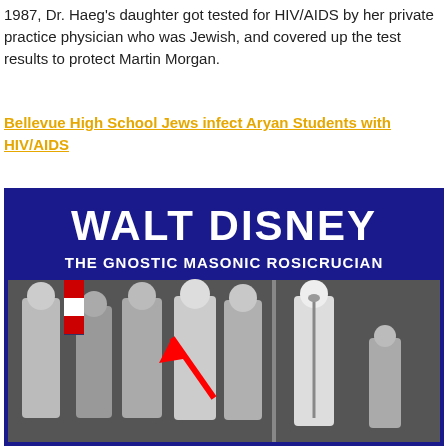1987, Dr. Haeg's daughter got tested for HIV/AIDS by her private practice physician who was Jewish, and covered up the test results to protect Martin Morgan.
Bellevue High School Jews infect Aryan Students with HIV/AIDS
[Figure (photo): Composite image with blue header text reading 'WALT DISNEY THE GNOSTIC MASONIC ROSICRUCIAN' above two black-and-white photographs showing men in ceremonial robes, one photo has a red arrow pointing to a figure.]